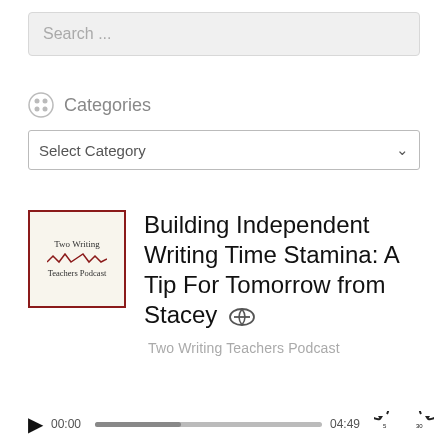[Figure (screenshot): Search input bar with placeholder text 'Search ...']
Categories
[Figure (screenshot): Select Category dropdown widget with chevron]
Building Independent Writing Time Stamina: A Tip For Tomorrow from Stacey ⊙
Two Writing Teachers Podcast
[Figure (screenshot): Audio player bar with play button, time 00:00, progress bar, end time 04:49, skip-back and skip-forward 30s controls]